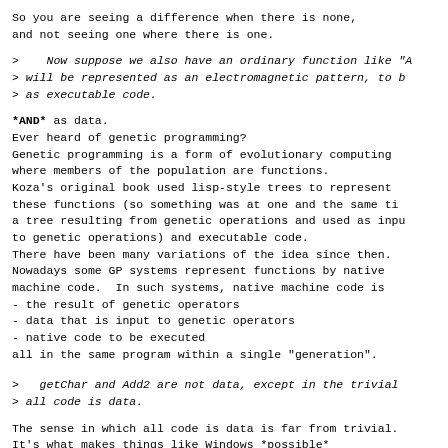So you are seeing a difference when there is none,
and not seeing one where there is one.
>    Now suppose we also have an ordinary function like "A
> will be represented as an electromagnetic pattern, to b
> as executable code.
*AND* as data.
Ever heard of genetic programming?
Genetic programming is a form of evolutionary computing
where members of the population are functions.
Koza's original book used lisp-style trees to represent
these functions (so something was at one and the same ti
a tree resulting from genetic operations and used as inpu
to genetic operations) and executable code.
There have been many variations of the idea since then.
Nowadays some GP systems represent functions by native
machine code.  In such systems, native machine code is
- the result of genetic operators
- data that is input to genetic operators
- native code to be executed
all in the same program within a single "generation".
>   getChar and Add2 are not data, except in the trivial
> all code is data.
The sense in which all code is data is far from trivial.
It's what makes things like Windows *possible*